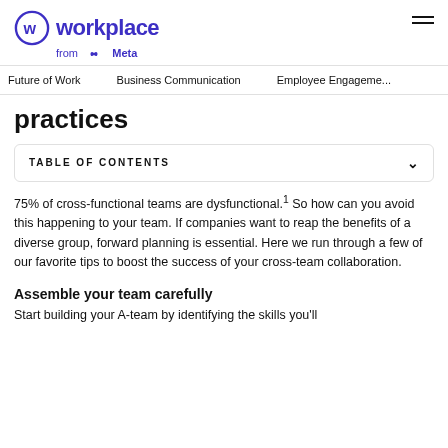Workplace from Meta
Future of Work   Business Communication   Employee Engagement
practices
TABLE OF CONTENTS
75% of cross-functional teams are dysfunctional.¹ So how can you avoid this happening to your team. If companies want to reap the benefits of a diverse group, forward planning is essential. Here we run through a few of our favorite tips to boost the success of your cross-team collaboration.
Assemble your team carefully
Start building your A-team by identifying the skills you'll